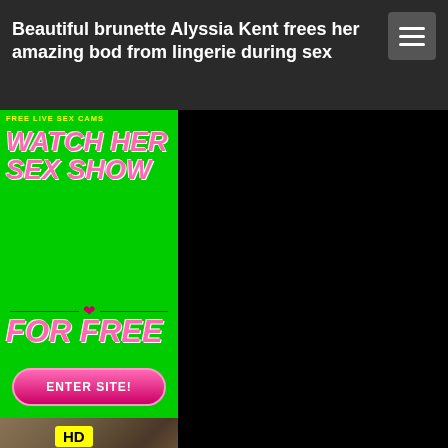Beautiful brunette Alyssia Kent frees her amazing bod from lingerie during sex
[Figure (illustration): Advertisement banner with green background, pink text reading WATCH HER SEX SHOW FOR FREE, a pink ENTER SITE! button, and a photo of a woman with HD badge]
[Figure (photo): Dark area to the right of the advertisement, black background]